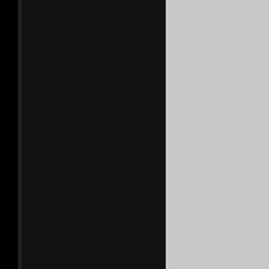USCS Sprint Speedweeks on Saturday, June 22, 2...
Engler Machine and Tool Heat 1 - (8 Laps)
1. 10m-Morgan Turpen[1] ; 2. 17-Alex Lyles[2] ; Witherspoon[3] ; 4. 44-Ronny Howard[4] ; 5. 9-Witherspoon[6] ; 6. 9-Edward Guidry[7] ; 7. 77-Santangelo[8] ; 8. B 52-Bill Mason[5]
Brown and Miller Racing Solutions Heat 2 - (
1. 47-Dale Howard[5] ; 2. 1s-Joey Schmidt[2] ; Bowden[4] ; 4. 9jr-Derek Hagar[7] ; 5. 26-Marshall 6. 28-Jeff Willingham[1] ; 7. 38-Tony Agin[8] ; 8. Shavers[3]
Butlerbuilt Heat 3 - (8 Laps)
1. 13-Chase Howard[1] ; 2. 4-Danny Smith[2] ; 3. Morgan[3] ; 4. 10-Terry Gray[5] ; 5. 4m-Michael M... 07-Johnny Bridges[4] ; 7. 93-Jake Knight...
USCS Hoosier Speed Dash - (6 Laps)
1. 10m-Morgan Turpen[2] ; 2. 9jr-Derek Hagar[1] Howard[3] ; 4. 10-Terry Gray[5] ; 5. 01-Shane Mor... Marshall Skinner[6]
FireAde 2000 A-Main - (30 Laps)
1. 9jr-Derek Hagar[1] ; 2. 47-Dale Howard[4] ; 3...